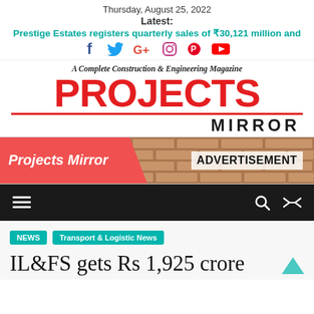Thursday, August 25, 2022
Latest:
Prestige Estates registers quarterly sales of ₹30,121 million and
[Figure (illustration): Social media icons: Facebook, Twitter, Google+, Instagram, Pinterest, YouTube]
[Figure (logo): Projects Mirror magazine logo — tagline: A Complete Construction & Engineering Magazine, PROJECTS in large red bold text, MIRROR in bold black text below with red underline]
[Figure (illustration): Advertisement banner with brick background. Left side: red diagonal banner with italic white text 'Projects Mirror'. Right side: black bold text 'ADVERTISEMENT']
[Figure (illustration): Black navigation bar with hamburger menu icon on left, search and shuffle icons on right]
NEWS
Transport & Logistic News
IL&FS gets Rs 1,925 crore